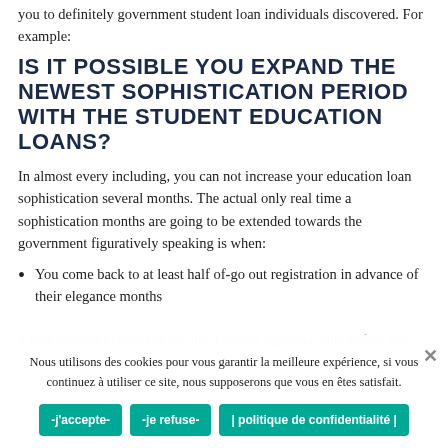you to definitely government student loan individuals discovered. For example:
IS IT POSSIBLE YOU EXPAND THE NEWEST SOPHISTICATION PERIOD WITH THE STUDENT EDUCATION LOANS?
In almost every including, you can not increase your education loan sophistication several months. The actual only real time a sophistication months are going to be extended towards the government figuratively speaking is when:
You come back to at least half of-go out registration in advance of their elegance months
it may be used to help you see the demands supposed duty before your own sophistication several
Nous utilisons des cookies pour vous garantir la meilleure expérience, si vous continuez à utiliser ce site, nous supposerons que vous en êtes satisfait.
-j'accepte-
-je refuse-
| politique de confidentialité |